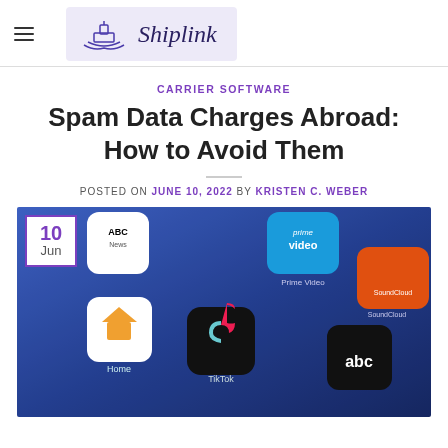Shiplink
CARRIER SOFTWARE
Spam Data Charges Abroad: How to Avoid Them
POSTED ON JUNE 10, 2022 BY KRISTEN C. WEBER
[Figure (photo): Close-up of a smartphone screen showing app icons including ABC News, Prime Video, Home, TikTok, SoundCloud, and ABC News app, with a date badge overlay showing 10 Jun]